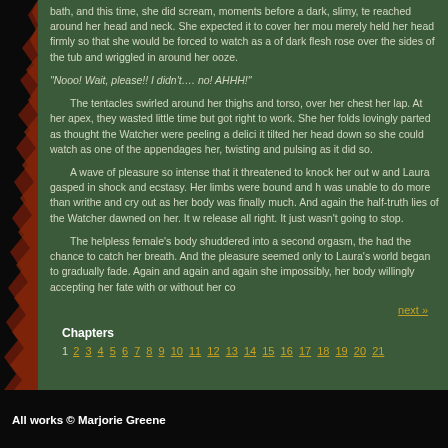bath, and this time, she did scream, moments before a dark, slimy, te reached around her head and neck. She expected it to cover her mou merely held her head firmly so that she would be forced to watch as a of dark flesh rose over the sides of the tub and wriggled in around her ooze.
“Nooo! Wait, please!! I didn’t…. no! AHHH!”
The tentacles swirled around her thighs and torso, over her chest her lap. At her apex, they wasted little time but got right to work. She her folds lovingly parted as thought the Watcher were peeling a delici it tilted her head down so she could watch as one of the appendages her, twisting and pulsing as it did so.
A wave of pleasure so intense that it threatened to knock her out w and Laura gasped in shock and ecstasy. Her limbs were bound and h was unable to do more than writhe and cry out as her body was finally much. And again the half-truth lies of the Watcher dawned on her. It w release all right. It just wasn’t going to stop.
The helpless female’s body shuddered into a second orgasm, the had the chance to catch her breath. And the pleasure seemed only to Laura’s world began to gradually fade. Again and again and again she impossibly, her body willingly accepting her fate with or without her co
next »
Chapters
1 2 3 4 5 6 7 8 9 10 11 12 13 14 15 16 17 18 19 20 21
All works © Marjorie Greene